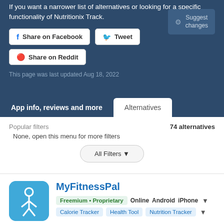If you want a narrower list of alternatives or looking for a specific functionality of Nutritionix Track.
Share on Facebook  Tweet  Share on Reddit  Suggest changes
This page was last updated Aug 18, 2022
App info, reviews and more
Alternatives
Popular filters
74 alternatives
None, open this menu for more filters
All Filters
MyFitnessPal
Freemium • Proprietary  Online  Android  iPhone
Calorie Tracker  Health Tool  Nutrition Tracker